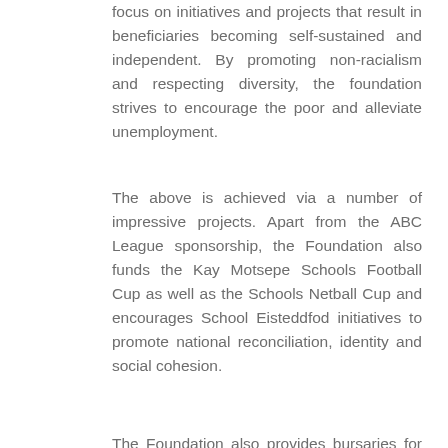focus on initiatives and projects that result in beneficiaries becoming self-sustained and independent. By promoting non-racialism and respecting diversity, the foundation strives to encourage the poor and alleviate unemployment.
The above is achieved via a number of impressive projects. Apart from the ABC League sponsorship, the Foundation also funds the Kay Motsepe Schools Football Cup as well as the Schools Netball Cup and encourages School Eisteddfod initiatives to promote national reconciliation, identity and social cohesion.
The Foundation also provides bursaries for deserving students and assists in the revamping and development of various schools (and churches) across the country. There is also something called the National Workshop in which the organization's Development Forum members along with traditional/religious leaders act as representatives of